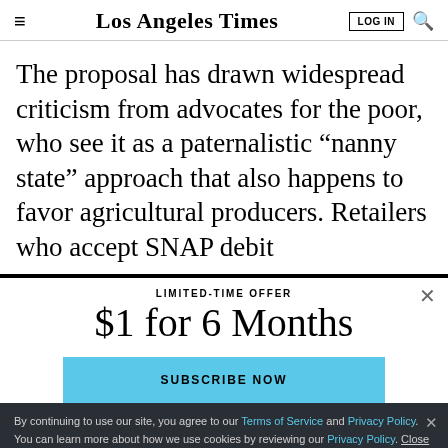Los Angeles Times | LOG IN | Search
The proposal has drawn widespread criticism from advocates for the poor, who see it as a paternalistic “nanny state” approach that also happens to favor agricultural producers. Retailers who accept SNAP debit
LIMITED-TIME OFFER
$1 for 6 Months
SUBSCRIBE NOW
By continuing to use our site, you agree to our Terms of Service and Privacy Policy. You can learn more about how we use cookies by reviewing our Privacy Policy. Close